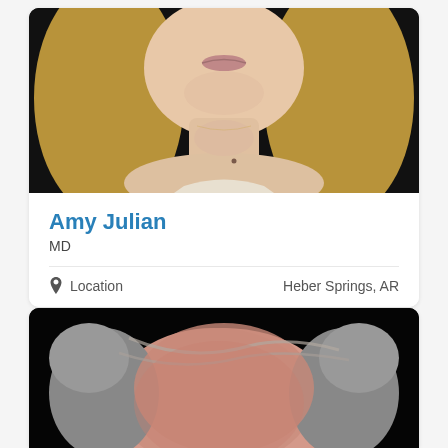[Figure (photo): Close-up photo of a woman with blonde straight hair, showing lower face, neck and upper chest area against dark background. Wearing a light colored top.]
Amy Julian
MD
Location   Heber Springs, AR
[Figure (photo): Close-up photo of a man with gray hair showing top/back of head against black background, with pink/reddish skin visible.]